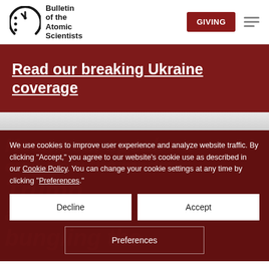Bulletin of the Atomic Scientists | GIVING | menu
Read our breaking Ukraine coverage
We use cookies to improve user experience and analyze website traffic. By clicking “Accept,” you agree to our website’s cookie use as described in our Cookie Policy. You can change your cookie settings at any time by clicking “Preferences.”
Decline | Accept | Preferences